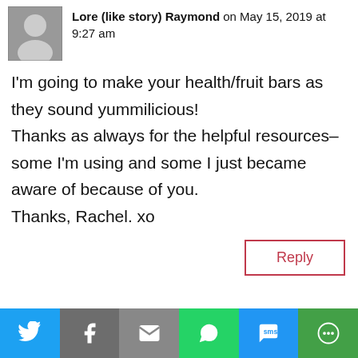[Figure (photo): Small avatar thumbnail of a person]
Lore (like story) Raymond on May 15, 2019 at 9:27 am
I'm going to make your health/fruit bars as they sound yummilicious!
Thanks as always for the helpful resources–some I'm using and some I just became aware of because of you.
Thanks, Rachel. xo
Reply
[Figure (photo): Small avatar thumbnail of Rachel Kieffer]
Rachel Kieffer on May 17, 2019 at 5:21 pm
Let me know how you like them Lore.
[Figure (infographic): Social sharing bar with Twitter, Facebook, Email, WhatsApp, SMS, and More buttons]